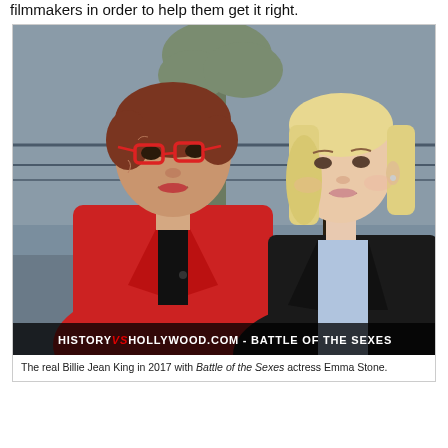filmmakers in order to help them get it right.
[Figure (photo): The real Billie Jean King (older woman in red jacket and red glasses) seated next to Battle of the Sexes actress Emma Stone (young woman with blonde hair in black blazer and light blue shirt), photographed outdoors in 2017. The photo has a watermark at the bottom reading 'HISTORYVSHOLLYWOOD.COM - BATTLE OF THE SEXES'.]
The real Billie Jean King in 2017 with Battle of the Sexes actress Emma Stone.